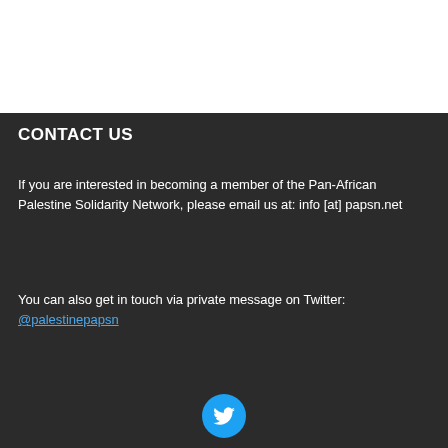CONTACT US
If you are interested in becoming a member of the Pan-African Palestine Solidarity Network, please email us at: info [at] papsn.net
You can also get in touch via private message on Twitter: @palestinepapsn
[Figure (logo): Twitter bird logo in white on a blue circle background]